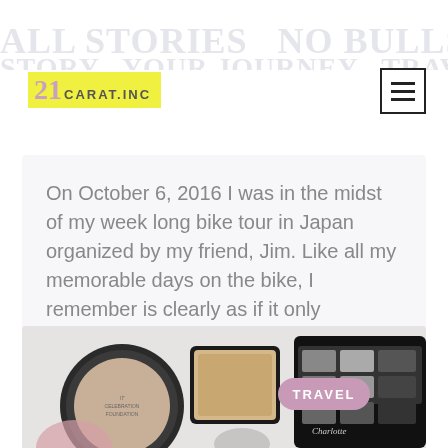21 CARAT.INC
ALL STORIES NO BULLSHIT WRITING THE
On October 6, 2016 I was in the midst of my week long bike tour in Japan organized by my friend, Jim. Like all my memorable days on the bike, I remember is clearly as if it only happened yesterday. On this day, I experienced the most epic day of
READ MORE »
[Figure (photo): Photo of makeup products including a round powder compact labeled 'IT Celebration Foundation', a rectangular pressed powder compact, and an eyeshadow palette, with a pink 'TRAVEL' badge overlay]